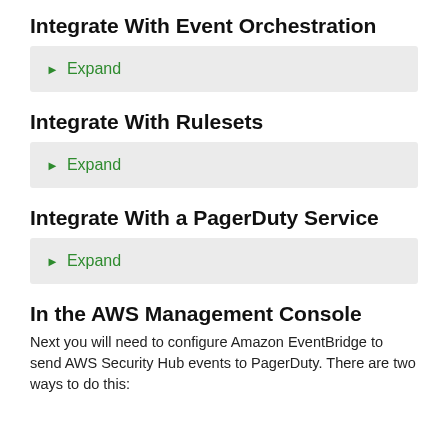Integrate With Event Orchestration
▶ Expand
Integrate With Rulesets
▶ Expand
Integrate With a PagerDuty Service
▶ Expand
In the AWS Management Console
Next you will need to configure Amazon EventBridge to send AWS Security Hub events to PagerDuty. There are two ways to do this: